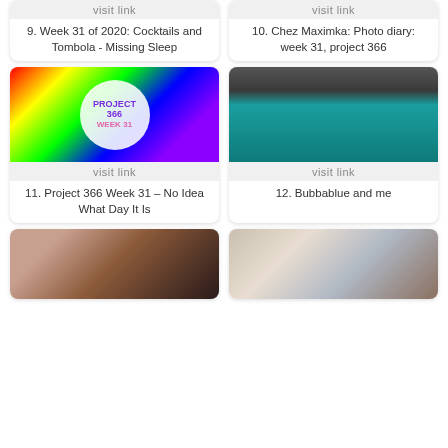visit link
visit link
9. Week 31 of 2020: Cocktails and Tombola - Missing Sleep
10. Chez Maximka: Photo diary: week 31, project 366
[Figure (photo): Project 366 Week 31 crochet rainbow background with white circle containing purple and pink text]
[Figure (photo): Penguin swimming in aquarium tank viewed from side]
visit link
visit link
11. Project 366 Week 31 – No Idea What Day It Is
12. Bubbablue and me
[Figure (photo): Child with red hair from behind, wearing dark star-patterned clothing]
[Figure (photo): Group of children in front of a brick wall]